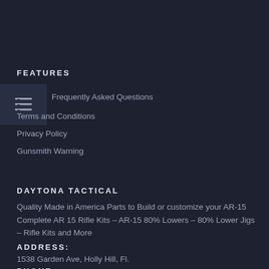FEATURES
[Figure (other): Hamburger/filter menu icon — three horizontal lines with sliders]
Frequently Asked Questions
Terms and Conditions
Privacy Policy
Gunsmith Warning
DAYTONA TACTICAL
Quality Made in America Parts to Build or customize your AR-15 Complete AR 15 Rifle Kits – AR-15 80% Lowers – 80% Lower Jigs – Rifle Kits and More
ADDRESS:
1538 Garden Ave, Holly Hill, Fl.
PHONE: